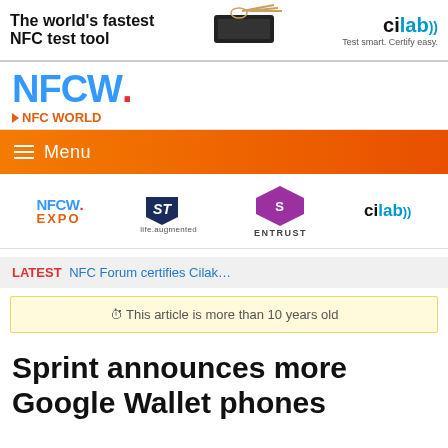[Figure (screenshot): Advertisement banner: 'The world's fastest NFC test tool' with cilab logo and device image]
[Figure (logo): NFCW. NFC WORLD website logo]
Menu
[Figure (logo): Sponsor logos: NFCW EXPO, ST life.augmented, Entrust, cilab]
LATEST NFC Forum certifies Cilak...
This article is more than 10 years old
Sprint announces more Google Wallet phones